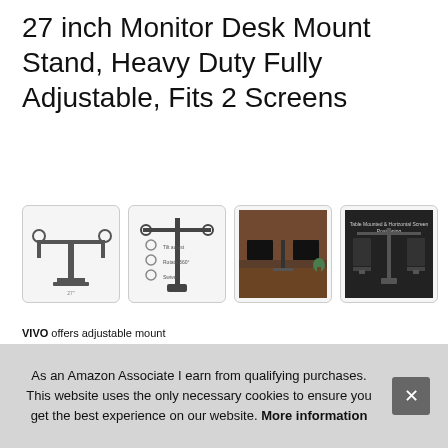27 inch Monitor Desk Mount Stand, Heavy Duty Fully Adjustable, Fits 2 Screens
#ad
[Figure (photo): Four product thumbnail images of a dual monitor desk mount stand: technical diagram view, assembly/spec diagram, lifestyle photo with two monitors on a wood desk, and a positioning diagram showing screen orientations.]
VIVO offers adjustable mount C-clamp or optional grommet mount.
As an Amazon Associate I earn from qualifying purchases. This website uses the only necessary cookies to ensure you get the best experience on our website. More information